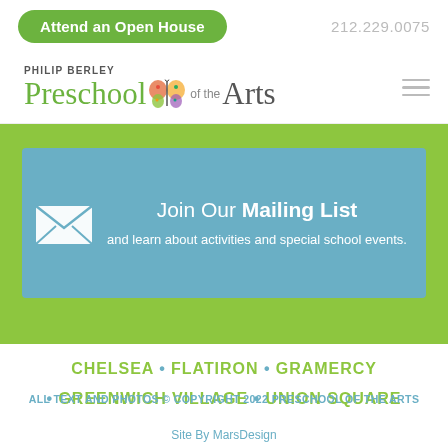Attend an Open House   212.229.0075
[Figure (logo): Philip Berley Preschool of the Arts logo with butterfly graphic]
Join Our Mailing List and learn about activities and special school events.
CHELSEA • FLATIRON • GRAMERCY • GREENWICH VILLAGE • UNION SQUARE
ALL TEXT AND PHOTOS © COPYRIGHT 2022 PRESCHOOL OF THE ARTS
Site By MarsDesign